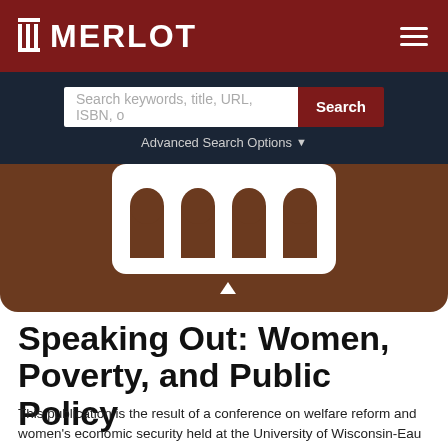MERLOT
Search keywords, title, URL, ISBN, o
Advanced Search Options
[Figure (illustration): Building facade illustration showing arched windows on a brown background, partial view of a white panel with four brown arched window shapes]
Speaking Out: Women, Poverty, and Public Policy
This publication is the result of a conference on welfare reform and women's economic security held at the University of Wisconsin-Eau Claire from October 29-31, 1998.